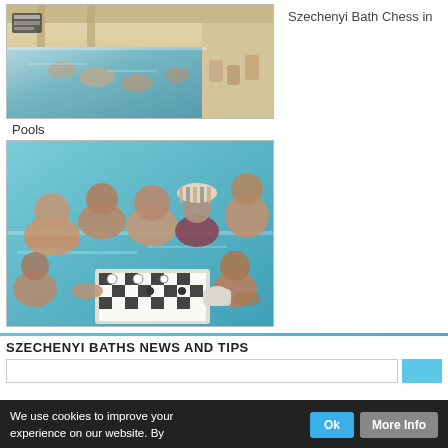[Figure (photo): Indoor thermal pool with many people swimming and relaxing, ornate architecture visible in background]
Szechenyi Bath Chess in
Pools
[Figure (photo): Group of older men and a woman in a swimming pool playing chess on a floating board]
SZECHENYI BATHS NEWS AND TIPS
We use cookies to improve your experience on our website. By
Ok
More Info